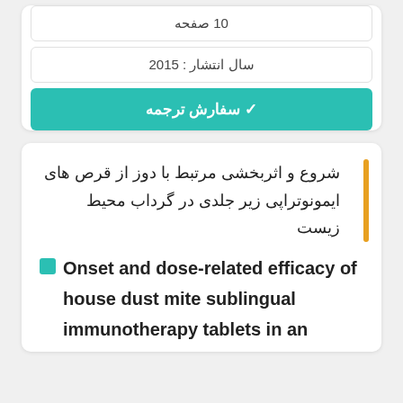10 صفحه
سال انتشار : 2015
✔ سفارش ترجمه
شروع و اثربخشی مرتبط با دوز از قرص های ایمونوتراپی زیر جلدی در گرداب محیط زیست
Onset and dose-related efficacy of house dust mite sublingual immunotherapy tablets in an